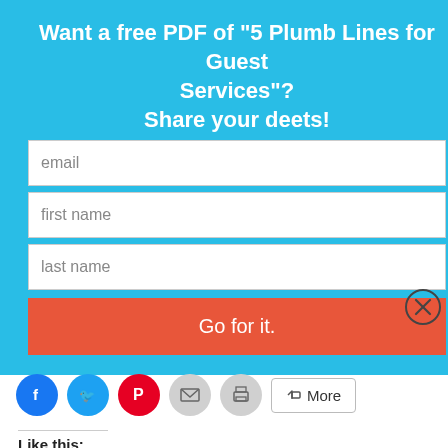Want a free PDF of "5 Plumb Lines for Guest Services"?
Share your deets!
[Figure (screenshot): Web form with email, first name, last name fields and a red 'Go for it.' submit button on a blue background, plus a close (X) button in the top-right corner]
[Figure (infographic): Social share buttons row: Facebook (blue circle), Twitter (blue circle), Pinterest (red circle), Email (gray circle), Print (gray circle), and a 'More' button]
Like this:
Loading...